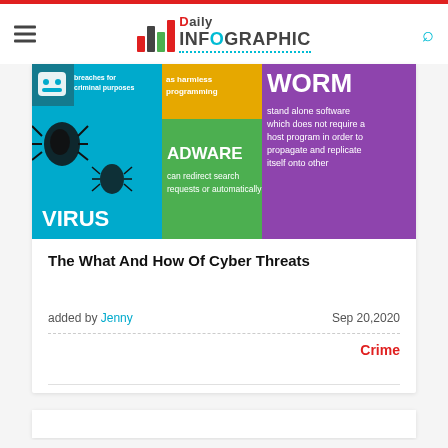Daily Infographic
[Figure (infographic): Cyber threats infographic showing colored tiles for VIRUS, ADWARE, WORM with descriptions of each threat type]
The What And How Of Cyber Threats
added by Jenny    Sep 20,2020
Crime